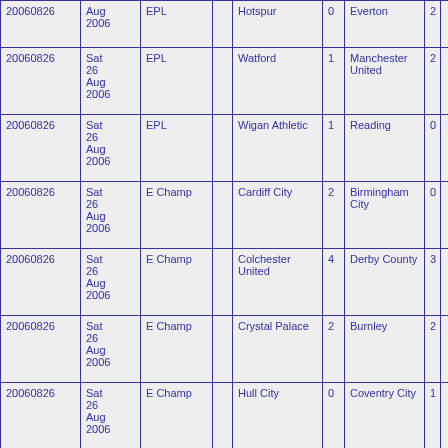| Date | Date Text | League |  | Home Team | Home Score | Away Team | Away Score |  |
| --- | --- | --- | --- | --- | --- | --- | --- | --- |
| 20060826 | Aug 2006 | EPL |  | Hotspur | 0 | Everton | 2 |  |
| 20060826 | Sat 26 Aug 2006 | EPL |  | Watford | 1 | Manchester United | 2 |  |
| 20060826 | Sat 26 Aug 2006 | EPL |  | Wigan Athletic | 1 | Reading | 0 |  |
| 20060826 | Sat 26 Aug 2006 | E Champ |  | Cardiff City | 2 | Birmingham City | 0 |  |
| 20060826 | Sat 26 Aug 2006 | E Champ |  | Colchester United | 4 | Derby County | 3 |  |
| 20060826 | Sat 26 Aug 2006 | E Champ |  | Crystal Palace | 2 | Burnley | 2 |  |
| 20060826 | Sat 26 Aug 2006 | E Champ |  | Hull City | 0 | Coventry City | 1 |  |
| 20060826 | Sat 26 Aug 2006 | E Champ |  | Leicester City | 1 | Southend United | 0 |  |
| 20060826 | Sat 26 Aug 2006 | E Champ |  | Norwich City | 5 | Barnsley | 1 |  |
| 20060826 | Sat 26 Aug 2006 | E Champ |  | Southampton | 1 | Preston North End | 1 |  |